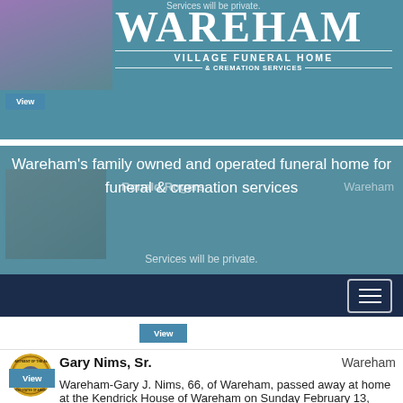Services will be private.
[Figure (logo): Wareham Village Funeral Home & Cremation Services logo with large WAREHAM text]
Wareham's family owned and operated funeral home for funeral & cremation services
Ronald Rogers   Wareham
Services will be private.
View
[Figure (other): Department of the Army seal / United States of America emblem]
Gary Nims, Sr.   Wareham
View
Wareham-Gary J. Nims, 66, of Wareham, passed away at home at the Kendrick House of Wareham on Sunday February 13, 2022. Son of the late Richard and